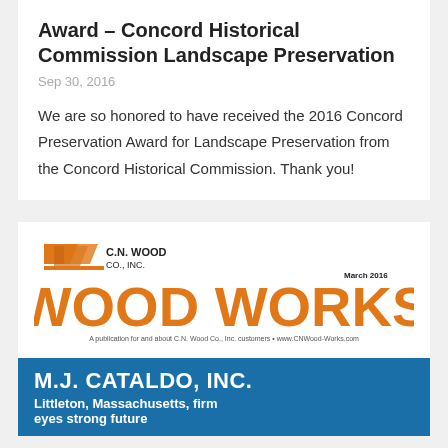Award – Concord Historical Commission Landscape Preservation
Sep 30, 2016
We are so honored to have received the 2016 Concord Preservation Award for Landscape Preservation from the Concord Historical Commission. Thank you!
[Figure (other): C.N. Wood Co., Inc. Wood Works newsletter cover, March 2016. Large orange bold text reads WOOD WORKS. Subtitle: A publication for and about C.N. Wood Co., Inc. customers • www.CNWood-Works.com]
[Figure (other): M.J. Cataldo, Inc. banner on blue background with text: Littleton, Massachusetts, firm eyes strong future]